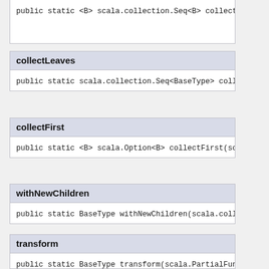public static <B> scala.collection.Seq<B> collect(sca
collectLeaves
public static scala.collection.Seq<BaseType> collectL
collectFirst
public static <B> scala.Option<B> collectFirst(scala.
withNewChildren
public static BaseType withNewChildren(scala.collecti
transform
public static BaseType transform(scala.PartialFunctio